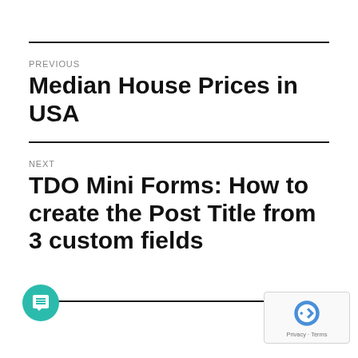PREVIOUS
Median House Prices in USA
NEXT
TDO Mini Forms: How to create the Post Title from 3 custom fields